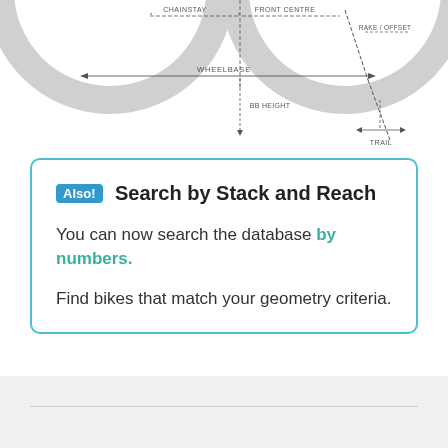[Figure (engineering-diagram): Partial bicycle geometry diagram showing dimension labels including CHAINSTAY, FRONT CENTRE, RAKE / OFFSET, WHEELBASE, BB HEIGHT, and TRAIL with dashed measurement lines.]
Also! Search by Stack and Reach
You can now search the database by numbers.
Find bikes that match your geometry criteria.